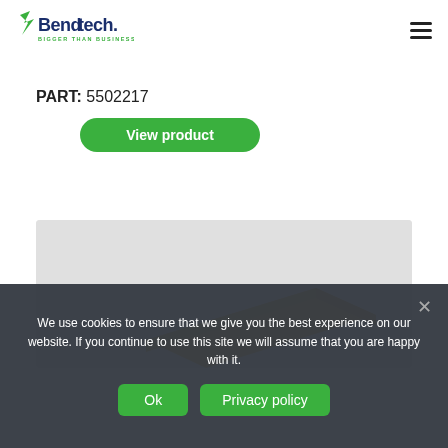[Figure (logo): Bend-tech logo with tagline BIGGER THAN BUSINESS]
PART: 5502217
View product
[Figure (photo): Product image on grey background showing a yellow/gold angled metal part]
We use cookies to ensure that we give you the best experience on our website. If you continue to use this site we will assume that you are happy with it.